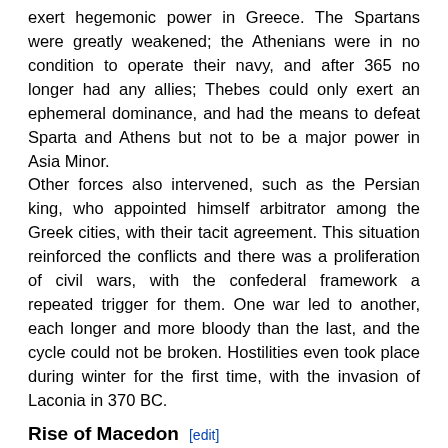exert hegemonic power in Greece. The Spartans were greatly weakened; the Athenians were in no condition to operate their navy, and after 365 no longer had any allies; Thebes could only exert an ephemeral dominance, and had the means to defeat Sparta and Athens but not to be a major power in Asia Minor. Other forces also intervened, such as the Persian king, who appointed himself arbitrator among the Greek cities, with their tacit agreement. This situation reinforced the conflicts and there was a proliferation of civil wars, with the confederal framework a repeated trigger for them. One war led to another, each longer and more bloody than the last, and the cycle could not be broken. Hostilities even took place during winter for the first time, with the invasion of Laconia in 370 BC.
Rise of Macedon
Main article: Rise of Macedon
Thebes sought to maintain its position until finally eclipsed by the rising power of Macedon in 346 BC. The energetic leadership within Macedon began in 359 BC when Philip of Macedon was made regent for his nephew Amyntas. Within a short time, Philip...